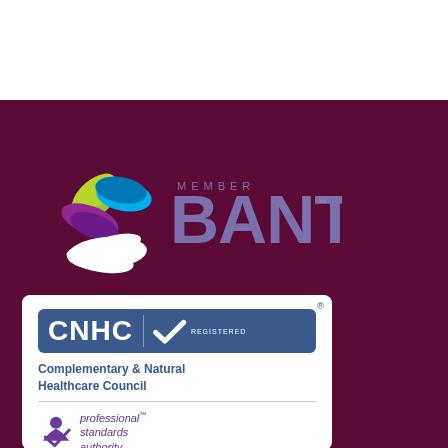[Figure (logo): BANT Member logo on dark maroon background - circular leaf design with green, blue and purple leaves on top half, white swirl on bottom half, with MEMBER text above and BANT in large purple letters]
[Figure (logo): CNHC Registered logo card on white background - CNHC in white letters on blue box with checkmark and REGISTERED text, Complementary & Natural Healthcare Council text below, divider line, professional standards authority logo at bottom]